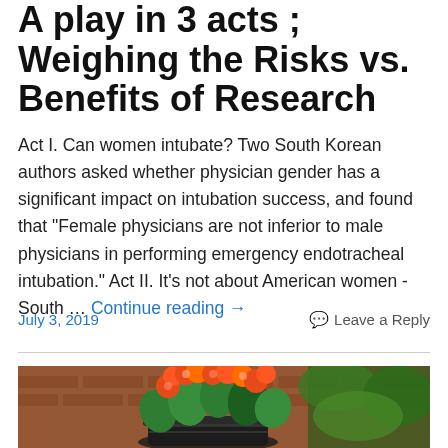A play in 3 acts ; Weighing the Risks vs. Benefits of Research
Act I. Can women intubate? Two South Korean authors asked whether physician gender has a significant impact on intubation success, and found that "Female physicians are not inferior to male physicians in performing emergency endotracheal intubation." Act II. It's not about American women - South … Continue reading →
July 3, 2019
Leave a Reply
[Figure (photo): Photo of orange/red flowers in a dark decorative pot against a brick wall background with green foliage]